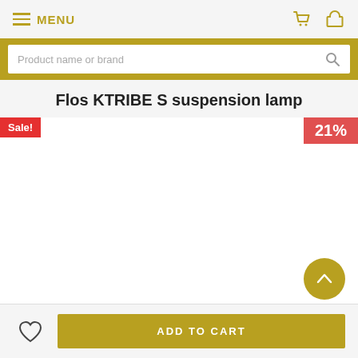MENU
Product name or brand
Flos KTRIBE S suspension lamp
Sale!
21%
ADD TO CART